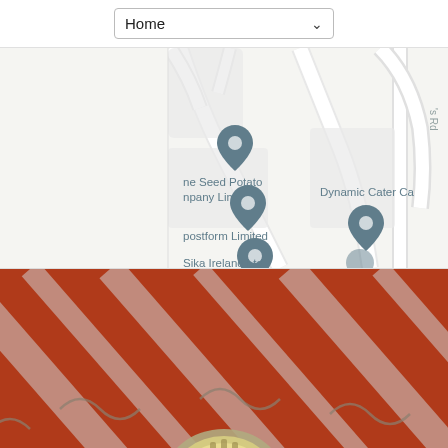[Figure (screenshot): Dropdown UI element labeled 'Home' with a down arrow]
[Figure (map): Google Maps-style map excerpt showing location pins for: 'ne Seed Potato npany Limited', 'postform Limited', 'Dynamic Cater Ca', 'Sika Ireland Ltd'. Road labeled 's Rd' visible on right edge.]
[Figure (illustration): Decorative illustration with dark red/rust background, diagonal white stripe patterns, and a partial circular emblem or badge at the bottom center with yellow and gray tones.]